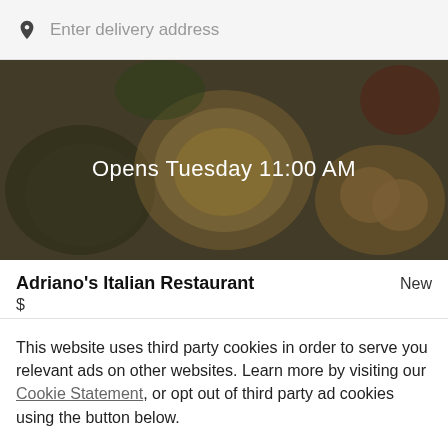Enter delivery address
[Figure (photo): Hero image of Italian food dishes with a dark overlay showing 'Opens Tuesday 11:00 AM']
Adriano's Italian Restaurant
New
$
This website uses third party cookies in order to serve you relevant ads on other websites. Learn more by visiting our Cookie Statement, or opt out of third party ad cookies using the button below.
OPT OUT
GOT IT